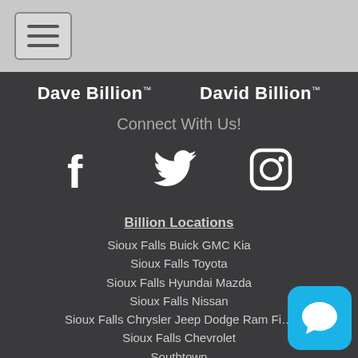Navigation menu (hamburger icon)
Dave Billion™   David Billion™
Connect With Us!
[Figure (illustration): Facebook, Twitter, and Instagram social media icons in white]
Billion Locations
Sioux Falls Buick GMC Kia
Sioux Falls Toyota
Sioux Falls Hyundai Mazda
Sioux Falls Nissan
Sioux Falls Chrysler Jeep Dodge Ram Fi…
Sioux Falls Chevrolet
Southtown
Rapid City Kia
Sioux City Kia